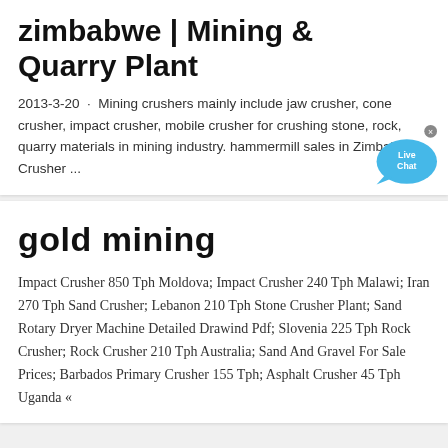zimbabwe | Mining & Quarry Plant
2013-3-20 · Mining crushers mainly include jaw crusher, cone crusher, impact crusher, mobile crusher for crushing stone, rock, quarry materials in mining industry. hammermill sales in Zimbabwe – Crusher ...
gold mining
Impact Crusher 850 Tph Moldova; Impact Crusher 240 Tph Malawi; Iran 270 Tph Sand Crusher; Lebanon 210 Tph Stone Crusher Plant; Sand Rotary Dryer Machine Detailed Drawind Pdf; Slovenia 225 Tph Rock Crusher; Rock Crusher 210 Tph Australia; Sand And Gravel For Sale Prices; Barbados Primary Crusher 155 Tph; Asphalt Crusher 45 Tph Uganda «